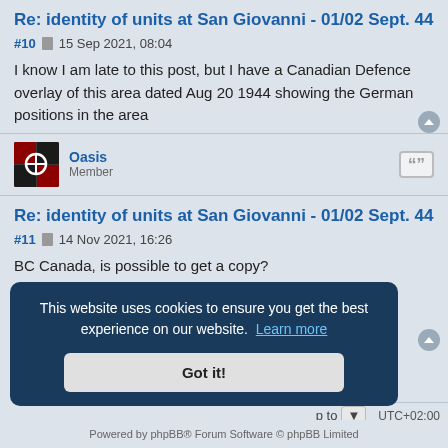Re: identity of units at San Giovanni - 01/02 Sept. 44
#10  15 Sep 2021, 08:04
I know I am late to this post, but I have a Canadian Defence overlay of this area dated Aug 20 1944 showing the German positions in the area
Oasis
Member
Re: identity of units at San Giovanni - 01/02 Sept. 44
#11  14 Nov 2021, 16:26
BC Canada, is possible to get a copy?
Thanks
Toni
This website uses cookies to ensure you get the best experience on our website.  Learn more
Got it!
Powered by phpBB® Forum Software © phpBB Limited